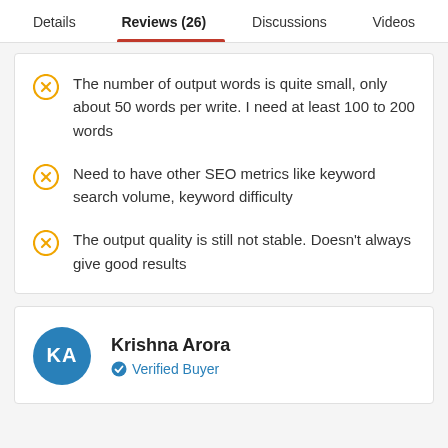Details   Reviews (26)   Discussions   Videos
The number of output words is quite small, only about 50 words per write. I need at least 100 to 200 words
Need to have other SEO metrics like keyword search volume, keyword difficulty
The output quality is still not stable. Doesn't always give good results
Krishna Arora
Verified Buyer